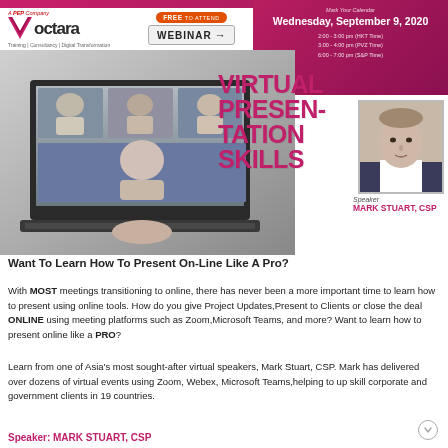[Figure (infographic): Voctara webinar promotional banner with logo, Free To Attend Webinar badge, date block showing Wednesday September 9 2020 with times, laptop showing virtual meeting, title Virtual Presentation Skills, speaker photo, and speaker name Mark Stuart CSP]
Want To Learn How To Present On-Line Like A Pro?
With MOST meetings transitioning to online, there has never been a more important time to learn how to present using online tools. How do you give Project Updates,Present to Clients or close the deal ONLINE using meeting platforms such as Zoom,Microsoft Teams, and more? Want to learn how to present online like a PRO?
Learn from one of Asia's most sought-after virtual speakers, Mark Stuart, CSP. Mark has delivered over dozens of virtual events using Zoom, Webex, Microsoft Teams,helping to up skill corporate and government clients in 19 countries.
Speaker: MARK STUART, CSP